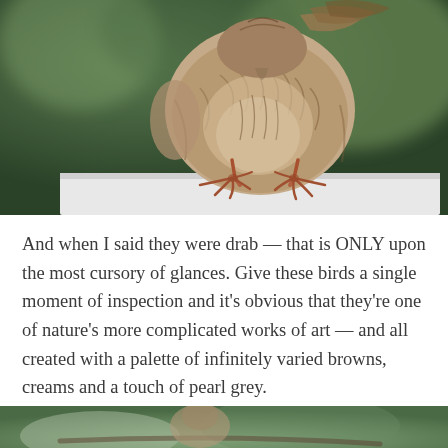[Figure (photo): Close-up photograph of a small brown speckled bird standing on a white surface, viewed from the front/below showing its streaked brown and cream plumage, thin reddish-brown legs and feet with claws, against a blurred dark green background.]
And when I said they were drab — that is ONLY upon the most cursory of glances. Give these birds a single moment of inspection and it's obvious that they're one of nature's more complicated works of art — and all created with a palette of infinitely varied browns, creams and a touch of pearl grey.
[Figure (photo): Partial photograph at bottom of page showing a bird perched, with blurred greenish background — cropped, only top portion visible.]